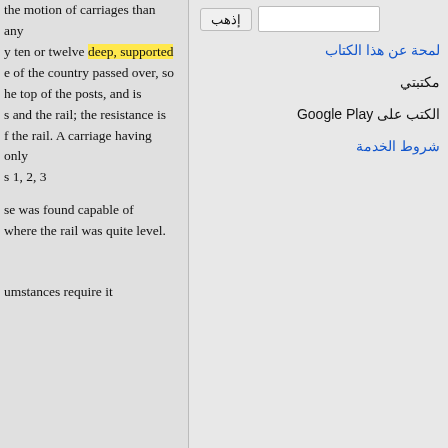the motion of carriages than any y ten or twelve deep, supported e of the country passed over, so he top of the posts, and is s and the rail; the resistance is f the rail. A carriage having only s 1, 2, 3 se was found capable of where the rail was quite level. umstances require it
إذهب
لمحة عن هذا الكتاب
مكتبتي
الكتب على Google Play
شروط الخدمة